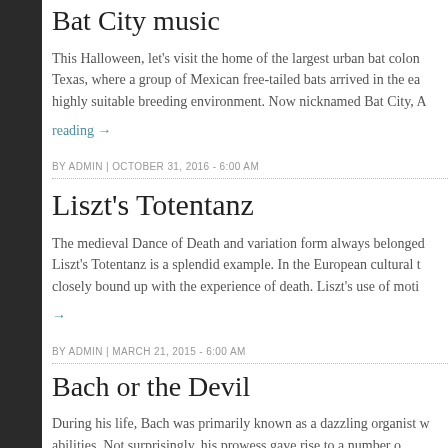Bat City music
This Halloween, let's visit the home of the largest urban bat colony in Texas, where a group of Mexican free-tailed bats arrived in the early highly suitable breeding environment. Now nicknamed Bat City, A
reading →
BY ADMIN | OCTOBER 31, 2016 - 6:00 AM
Liszt's Totentanz
The medieval Dance of Death and variation form always belonged together. Liszt's Totentanz is a splendid example. In the European cultural t closely bound up with the experience of death. Liszt's use of motiv
→
BY ADMIN | MARCH 21, 2015 - 6:00 AM
Bach or the Devil
During his life, Bach was primarily known as a dazzling organist abilities. Not surprisingly, his prowess gave rise to a number o